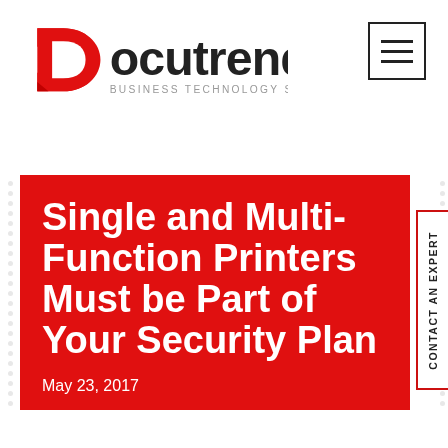[Figure (logo): Docutrend logo with red D icon and tagline 'BUSINESS TECHNOLOGY SIMPLIFIED']
Single and Multi-Function Printers Must be Part of Your Security Plan
May 23, 2017